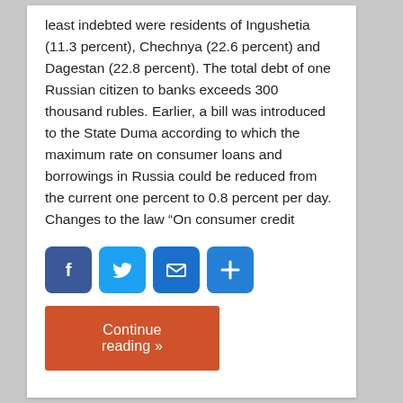least indebted were residents of Ingushetia (11.3 percent), Chechnya (22.6 percent) and Dagestan (22.8 percent). The total debt of one Russian citizen to banks exceeds 300 thousand rubles. Earlier, a bill was introduced to the State Duma according to which the maximum rate on consumer loans and borrowings in Russia could be reduced from the current one percent to 0.8 percent per day. Changes to the law “On consumer credit
[Figure (infographic): Row of four social sharing buttons: Facebook (blue), Twitter (light blue), Email/envelope (blue), and a plus/share button (blue)]
Continue reading »